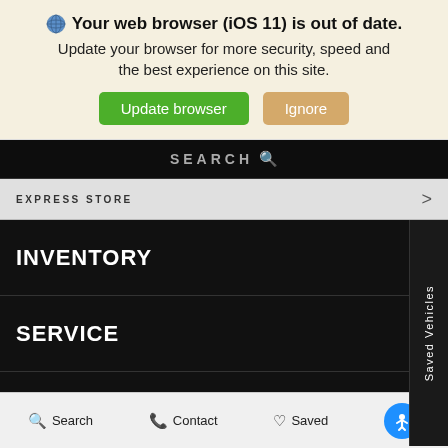Your web browser (iOS 11) is out of date. Update your browser for more security, speed and the best experience on this site.
Update browser
Ignore
SEARCH
EXPRESS STORE
INVENTORY
SERVICE
FINANCE
ABOUT
Saved Vehicles
Search   Contact   Saved   Accessibility